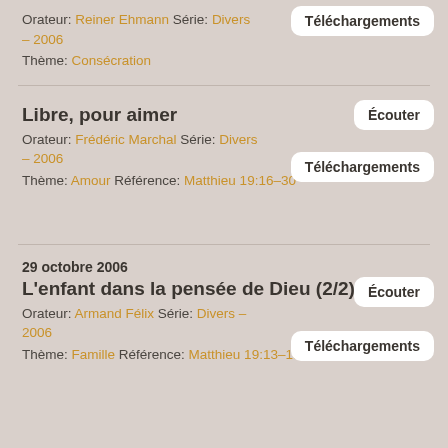Orateur: Reiner Ehmann Série: Divers – 2006
Thème: Consécration
[Button: Téléchargements]
Libre, pour aimer
Orateur: Frédéric Marchal Série: Divers – 2006
Thème: Amour Référence: Matthieu 19:16–30
[Button: Écouter] [Button: Téléchargements]
29 octobre 2006
L'enfant dans la pensée de Dieu (2/2)
Orateur: Armand Félix Série: Divers – 2006
Thème: Famille Référence: Matthieu 19:13–15; Marc 10:13–16
[Button: Écouter] [Button: Téléchargements]